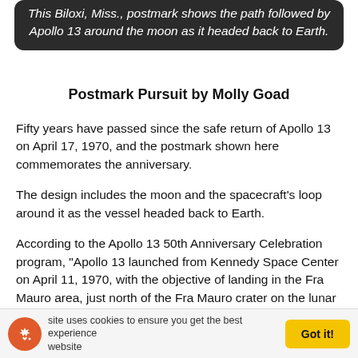This Biloxi, Miss., postmark shows the path followed by Apollo 13 around the moon as it headed back to Earth.
Postmark Pursuit by Molly Goad
Fifty years have passed since the safe return of Apollo 13 on April 17, 1970, and the postmark shown here commemorates the anniversary.
The design includes the moon and the spacecraft's loop around it as the vessel headed back to Earth.
According to the Apollo 13 50th Anniversary Celebration program, “Apollo 13 launched from Kennedy Space Center on April 11, 1970, with the objective of landing in the Fra Mauro area, just north of the Fra Mauro crater on the lunar surface. The mission objective was aborted after a rupture of the service module oxygen tank; despite this catastrophe, the mission was considered a
This site uses cookies to ensure you get the best experience on our website. Got it!